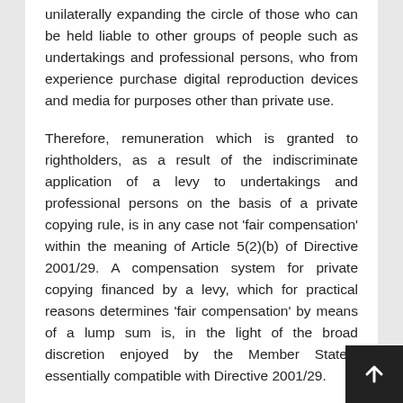unilaterally expanding the circle of those who can be held liable to other groups of people such as undertakings and professional persons, who from experience purchase digital reproduction devices and media for purposes other than private use.
Therefore, remuneration which is granted to rightholders, as a result of the indiscriminate application of a levy to undertakings and professional persons on the basis of a private copying rule, is in any case not 'fair compensation' within the meaning of Article 5(2)(b) of Directive 2001/29. A compensation system for private copying financed by a levy, which for practical reasons determines 'fair compensation' by means of a lump sum is, in the light of the broad discretion enjoyed by the Member States, essentially compatible with Directive 2001/29.